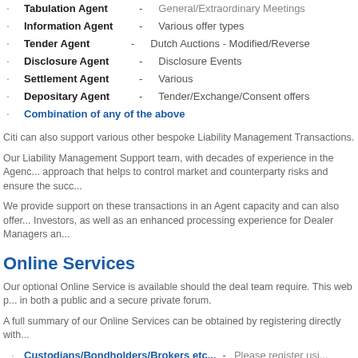Tabulation Agent - General/Extraordinary Meetings
Information Agent - Various offer types
Tender Agent - Dutch Auctions - Modified/Reverse
Disclosure Agent - Disclosure Events
Settlement Agent - Various
Depositary Agent - Tender/Exchange/Consent offers
Combination of any of the above
Citi can also support various other bespoke Liability Management Transactions.
Our Liability Management Support team, with decades of experience in the Agency approach that helps to control market and counterparty risks and ensure the succ...
We provide support on these transactions in an Agent capacity and can also offer Investors, as well as an enhanced processing experience for Dealer Managers an...
Online Services
Our optional Online Service is available should the deal team require. This web p... in both a public and a secure private forum.
A full summary of our Online Services can be obtained by registering directly with...
Custodians/Bondholders/Brokers etc... - Please register usi...